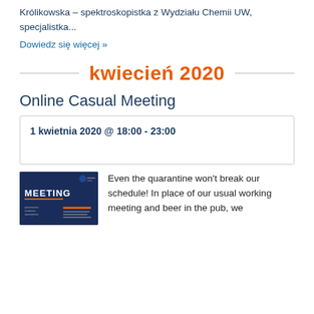Królikowska – spektroskopistka z Wydziału Chemii UW, specjalistka...
Dowiedz się więcej »
kwiecień 2020
Online Casual Meeting
1 kwietnia 2020 @ 18:00 - 23:00
[Figure (photo): Meeting event flyer with dark blue background and text 'MEETING']
Even the quarantine won't break our schedule! In place of our usual working meeting and beer in the pub, we